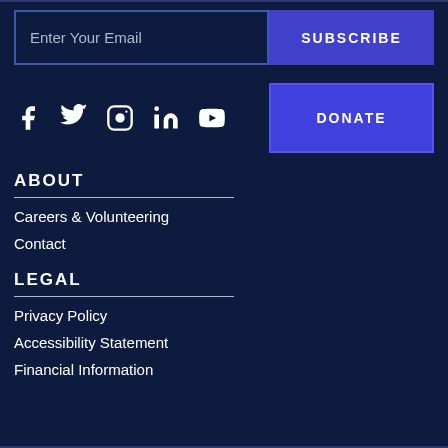Enter Your Email
SUBSCRIBE
[Figure (other): Social media icons: Facebook, Twitter, Instagram, LinkedIn, YouTube]
DONATE
ABOUT
Careers & Volunteering
Contact
LEGAL
Privacy Policy
Accessibility Statement
Financial Information